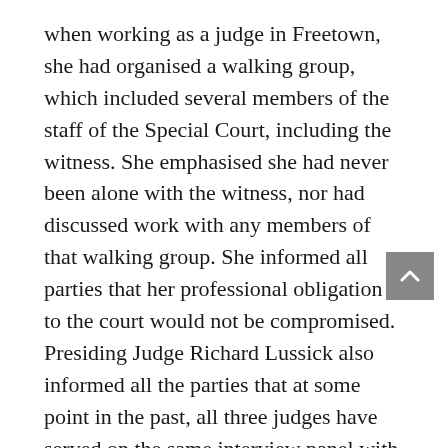when working as a judge in Freetown, she had organised a walking group, which included several members of the staff of the Special Court, including the witness. She emphasised she had never been alone with the witness, nor had discussed work with any members of that walking group. She informed all parties that her professional obligation to the court would not be compromised. Presiding Judge Richard Lussick also informed all the parties that at some point in the past, all three judges have served on the same interview panel with the witness during the Special Court recruiting process.

Defense counsel Terry Munyard responded that the Defense had no objection to the